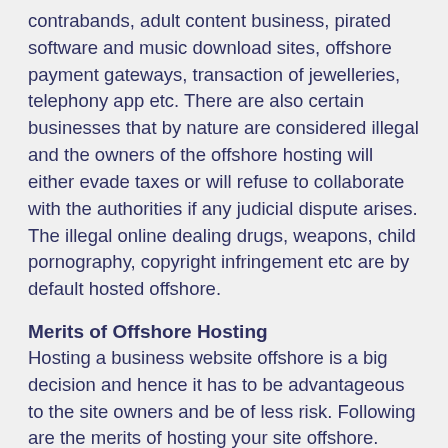contrabands, adult content business, pirated software and music download sites, offshore payment gateways, transaction of jewelleries, telephony app etc. There are also certain businesses that by nature are considered illegal and the owners of the offshore hosting will either evade taxes or will refuse to collaborate with the authorities if any judicial dispute arises. The illegal online dealing drugs, weapons, child pornography, copyright infringement etc are by default hosted offshore.
Merits of Offshore Hosting
Hosting a business website offshore is a big decision and hence it has to be advantageous to the site owners and be of less risk. Following are the merits of hosting your site offshore.
• Guarantee of full anonymity. Data confidentiality is maintained.